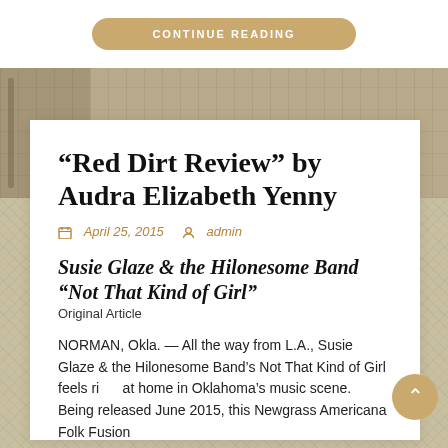CONTINUE READING
[Figure (screenshot): Textured background image with beige/tan weathered paper or stone texture]
“Red Dirt Review” by Audra Elizabeth Yenny
April 25, 2015   admin
Susie Glaze & the Hilonesome Band “Not That Kind of Girl”
Original Article
NORMAN, Okla. — All the way from L.A., Susie Glaze & the Hilonesome Band’s Not That Kind of Girl feels right at home in Oklahoma’s music scene.  Being released June 2015, this Newgrass Americana Folk Fusion